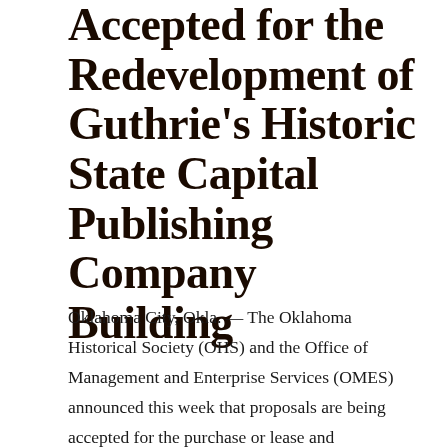Accepted for the Redevelopment of Guthrie's Historic State Capital Publishing Company Building
Oklahoma City, Okla. — The Oklahoma Historical Society (OHS) and the Office of Management and Enterprise Services (OMES) announced this week that proposals are being accepted for the purchase or lease and redevelopment of the historic Oklahoma State Capital Publishing Company Building located at 301 West Harrison in Guthrie.